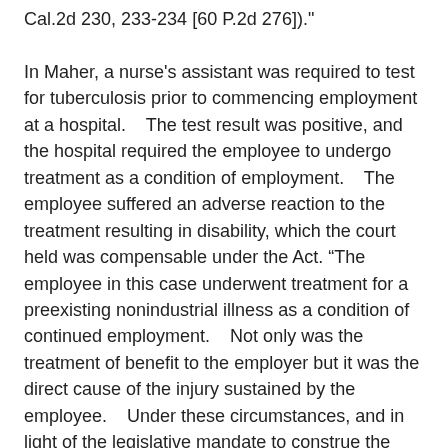Cal.2d 230, 233-234 [60 P.2d 276])."

In Maher, a nurse's assistant was required to test for tuberculosis prior to commencing employment at a hospital.    The test result was positive, and the hospital required the employee to undergo treatment as a condition of employment.    The employee suffered an adverse reaction to the treatment resulting in disability, which the court held was compensable under the Act. “The employee in this case underwent treatment for a preexisting nonindustrial illness as a condition of continued employment.    Not only was the treatment of benefit to the employer but it was the direct cause of the injury sustained by the employee.    Under these circumstances, and in light of the legislative mandate to construe the Workers' Compensation Act liberally in favor of awarding benefits, this court holds that the disability in this case arose out of and in the course of employment.    As such, it is compensable.”   (Maher, supra, 33 Cal.3d at p. 738,